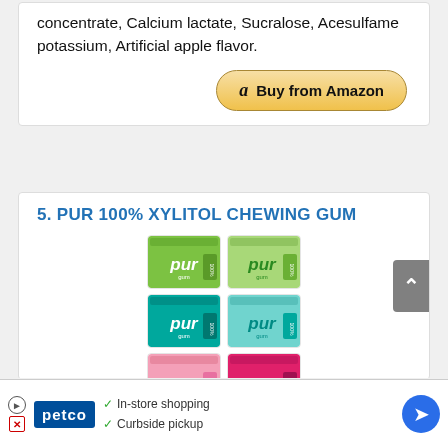concentrate, Calcium lactate, Sucralose, Acesulfame potassium, Artificial apple flavor.
[Figure (other): Amazon Buy button with golden gradient background]
5. PUR 100% XYLITOL CHEWING GUM
[Figure (photo): Grid of 8 PUR gum packs in green, teal, pink, and brown/dark colorways, arranged in 4 rows of 2]
[Figure (other): Petco advertisement banner with In-store shopping and Curbside pickup options]